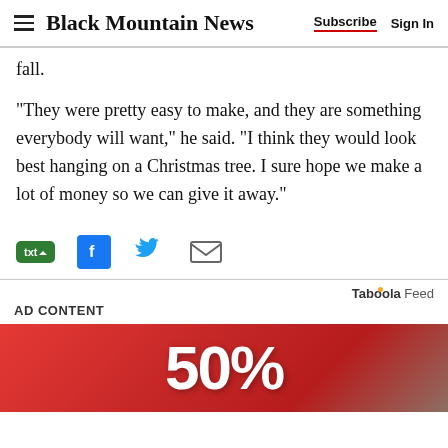Black Mountain News | Subscribe | Sign In
fall.
“They were pretty easy to make, and they are something everybody will want,” he said. “I think they would look best hanging on a Christmas tree. I sure hope we make a lot of money so we can give it away.”
[Figure (infographic): Social share buttons: txt (green speech bubble), Facebook (blue F icon), Twitter (blue bird), Email (gray envelope)]
Taboola Feed
AD CONTENT
[Figure (photo): Red sale sign showing 50% or similar discount percentage in white text]